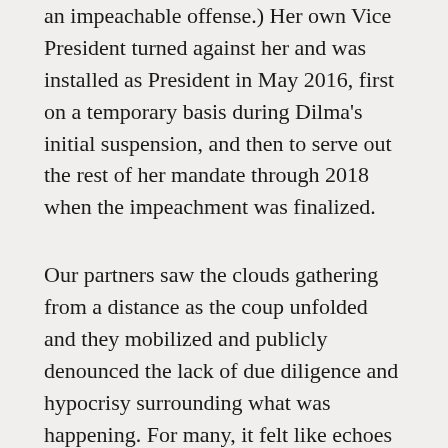an impeachable offense.) Her own Vice President turned against her and was installed as President in May 2016, first on a temporary basis during Dilma's initial suspension, and then to serve out the rest of her mandate through 2018 when the impeachment was finalized.
Our partners saw the clouds gathering from a distance as the coup unfolded and they mobilized and publicly denounced the lack of due diligence and hypocrisy surrounding what was happening. For many, it felt like echoes of the era of the military dictatorship (from 1964 to 1985), a period that still serves as a warning of what can happen when democracy is sidelined.
On April 28, 2017, social movements, unions and activists organized a general strike. An estimated 40 million workers walked out paralyzing business as usual. Schools, public transportation, banks and